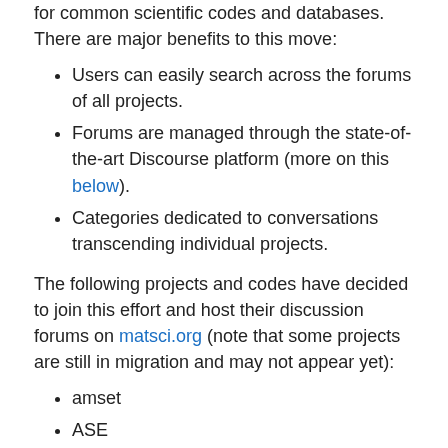for common scientific codes and databases. There are major benefits to this move:
Users can easily search across the forums of all projects.
Forums are managed through the state-of-the-art Discourse platform (more on this below).
Categories dedicated to conversations transcending individual projects.
The following projects and codes have decided to join this effort and host their discussion forums on matsci.org (note that some projects are still in migration and may not appear yet):
amset
ASE
atomate
DL_POLY
FireWorks